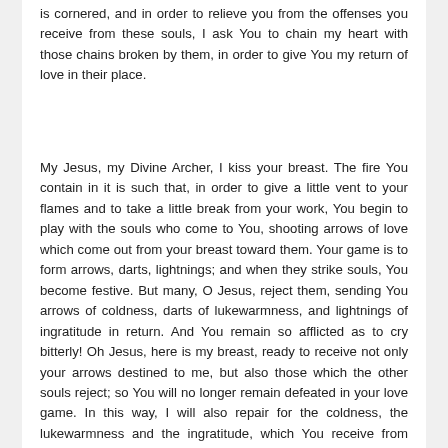is cornered, and in order to relieve you from the offenses you receive from these souls, I ask You to chain my heart with those chains broken by them, in order to give You my return of love in their place.
My Jesus, my Divine Archer, I kiss your breast. The fire You contain in it is such that, in order to give a little vent to your flames and to take a little break from your work, You begin to play with the souls who come to You, shooting arrows of love which come out from your breast toward them. Your game is to form arrows, darts, lightnings; and when they strike souls, You become festive. But many, O Jesus, reject them, sending You arrows of coldness, darts of lukewarmness, and lightnings of ingratitude in return. And You remain so afflicted as to cry bitterly! Oh Jesus, here is my breast, ready to receive not only your arrows destined to me, but also those which the other souls reject; so You will no longer remain defeated in your love game. In this way, I will also repair for the coldness, the lukewarmness and the ingratitude, which You receive from them.